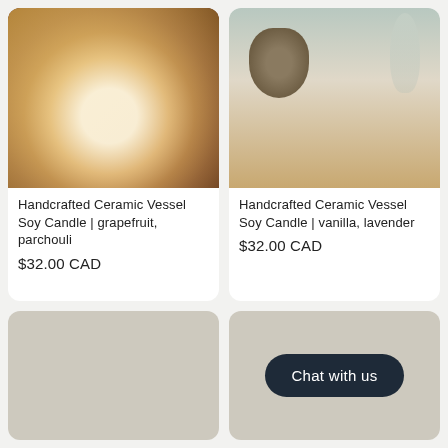[Figure (photo): Handcrafted ceramic vessel soy candle in a speckled brown/rustic pottery cup on a dark coaster, with orange and green background]
Handcrafted Ceramic Vessel Soy Candle | grapefruit, parchouli
$32.00 CAD
[Figure (photo): Handcrafted ceramic vessel soy candle in a dark speckled stoneware cup on a wooden surface with scattered dried leaves, white pot and glass vase in background]
Handcrafted Ceramic Vessel Soy Candle | vanilla, lavender
$32.00 CAD
[Figure (photo): Gray/beige placeholder image card]
[Figure (other): Gray/beige placeholder card with a dark navy Chat with us button]
Chat with us